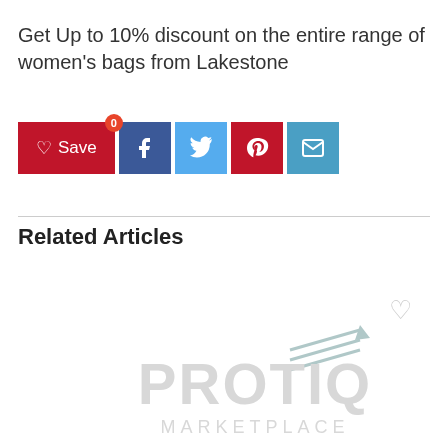Get Up to 10% discount on the entire range of women's bags from Lakestone
[Figure (infographic): Social sharing buttons: Save (heart icon with badge 0), Facebook, Twitter, Pinterest, Email]
Related Articles
[Figure (logo): PROTIQ MARKETPLACE watermark logo with arrow icon, heart outline at top right, appearing faded/watermarked in light gray]